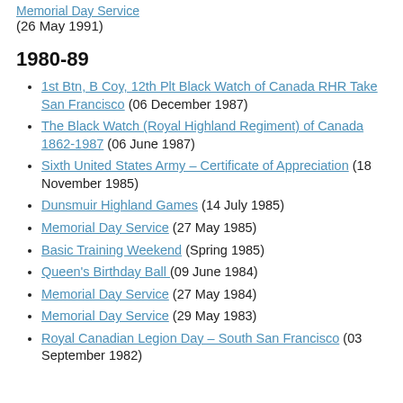Memorial Day Service (26 May 1991)
1980-89
1st Btn, B Coy, 12th Plt Black Watch of Canada RHR Take San Francisco (06 December 1987)
The Black Watch (Royal Highland Regiment) of Canada 1862-1987 (06 June 1987)
Sixth United States Army – Certificate of Appreciation (18 November 1985)
Dunsmuir Highland Games (14 July 1985)
Memorial Day Service (27 May 1985)
Basic Training Weekend (Spring 1985)
Queen's Birthday Ball (09 June 1984)
Memorial Day Service (27 May 1984)
Memorial Day Service (29 May 1983)
Royal Canadian Legion Day – South San Francisco (03 September 1982)